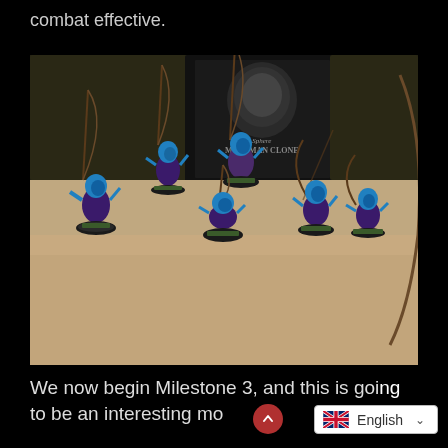combat effective.
[Figure (photo): Six blue and purple painted fantasy archer miniature figures on round bases, posed with bows, set against a sandy ground surface with game box artwork in the background. The box shows text 'The Sphere MINISMAN CLONES'.]
We now begin Milestone 3, and this is going to be an interesting mo
English